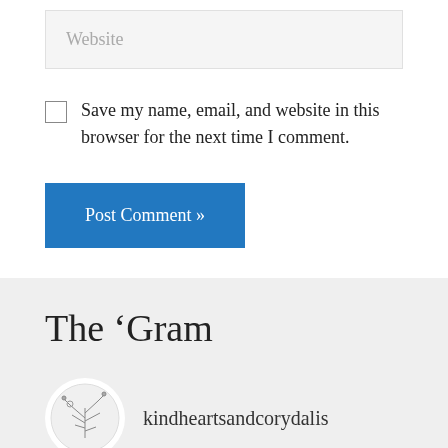Website
Save my name, email, and website in this browser for the next time I comment.
Post Comment »
The ‘Gram
kindheartsandcorydalis
[Figure (photo): Green foliage photo strip at bottom of page]